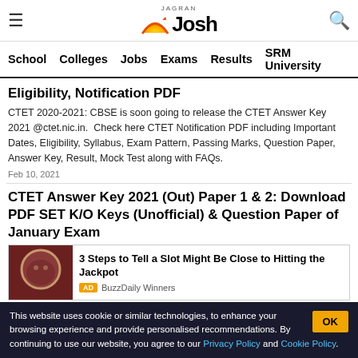Jagran Josh – School | Colleges | Jobs | Exams | Results | SRM University
Eligibility, Notification PDF
CTET 2020-2021: CBSE is soon going to release the CTET Answer Key 2021 @ctet.nic.in. Check here CTET Notification PDF including Important Dates, Eligibility, Syllabus, Exam Pattern, Passing Marks, Question Paper, Answer Key, Result, Mock Test along with FAQs.
Feb 10, 2021
CTET Answer Key 2021 (Out) Paper 1 & 2: Download PDF SET K/O Keys (Unofficial) & Question Paper of January Exam
[Figure (screenshot): Advertisement banner with a photo of a person and text: 3 Steps to Tell a Slot Might Be Close to Hitting the Jackpot. AD BuzzDaily Winners]
This website uses cookie or similar technologies, to enhance your browsing experience and provide personalised recommendations. By continuing to use our website, you agree to our Privacy Policy and Cookie Policy.